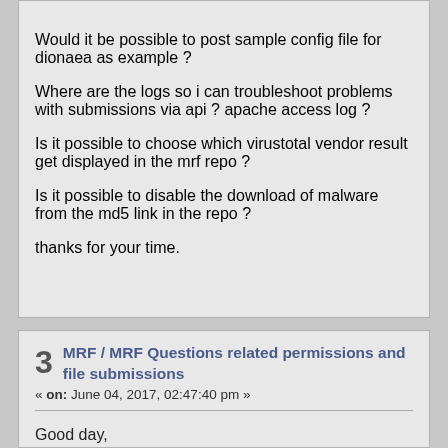Would it be possible to post sample config file for dionaea as example ?

Where are the logs so i can troubleshoot problems with submissions via api ? apache access log ?

Is it possible to choose which virustotal vendor result get displayed in the mrf repo ?

Is it possible to disable the download of malware from the md5 link in the repo ?

thanks for your time.
3  MRF / MRF Questions related permissions and file submissions
« on: June 04, 2017, 02:47:40 pm »
Good day,

I got questions in regards to MRF.

1- I installed MRF on a internet facing VPS and it seems to be wide open from the get go. Anybody could